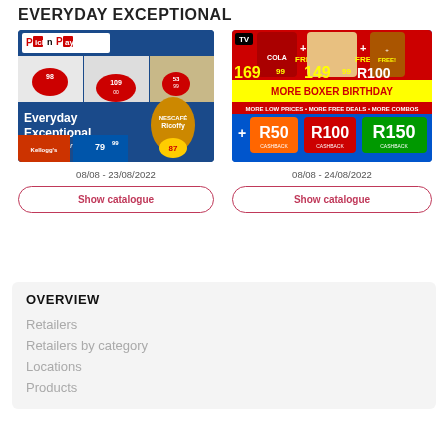EVERYDAY EXCEPTIONAL
[Figure (photo): Pick n Pay catalogue cover showing meat, dairy products, Nescafe Ricoffy, Kellogg's cereals with prices like 98, 109, 53.99, R50, 87.99, 79.99]
08/08 - 23/08/2022
Show catalogue
[Figure (photo): Boxer Birthday catalogue cover showing Coca-Cola, chicken, canned goods with prices 169.99, 149.99, R100, R50, R100, R150 cashback deals]
08/08 - 24/08/2022
Show catalogue
OVERVIEW
Retailers
Retailers by category
Locations
Products